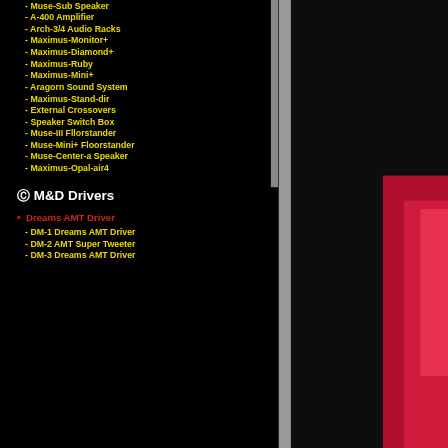- Muse-Sub Speaker
- A-400 Amplifier
- Arch-3/4 Audio Racks
- Maximus-Monitor+
- Maximus-Diamond+
- Maximus-Ruby
- Maximus-Mini+
- Aragorn Sound System
- Maximus-Stand-dir
- External Crossovers
- Speaker Switch Box
- Muse-III Fllorstander
- Muse-Mini+ Floorstander
- Muse-Center-a Speaker
- Maximus-Opal-air4
© M&D Drivers
• Dreams AMT Driver
- DM-1 Dreams AMT Driver
- DM-2 AMT Super Tweeter
- DM-3 Dreams AMT Driver
[Figure (photo): Right panel showing a partial photo with red/pink colors on dark background]